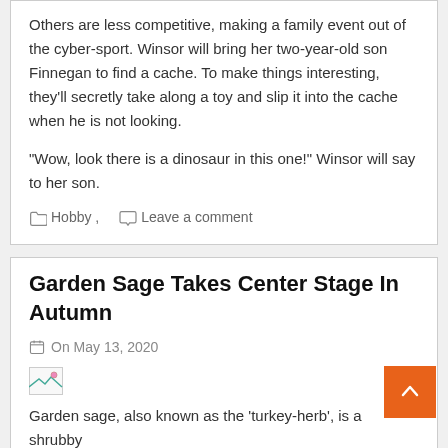Others are less competitive, making a family event out of the cyber-sport. Winsor will bring her two-year-old son Finnegan to find a cache. To make things interesting, they'll secretly take along a toy and slip it into the cache when he is not looking.
"Wow, look there is a dinosaur in this one!" Winsor will say to her son.
Hobby ,    Leave a comment
Garden Sage Takes Center Stage In Autumn
On May 13, 2020
[Figure (photo): Small broken/placeholder image icon]
Garden sage, also known as the 'turkey-herb', is a shrubby